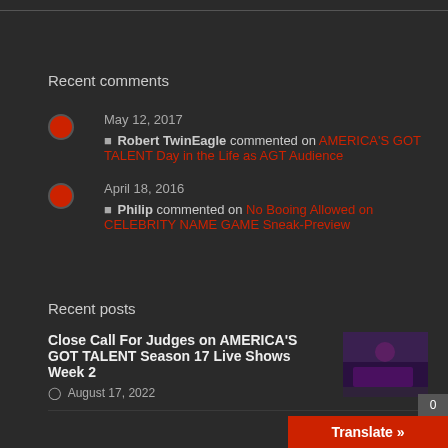Recent comments
May 12, 2017 — Robert TwinEagle commented on AMERICA'S GOT TALENT Day in the Life as AGT Audience
April 18, 2016 — Philip commented on No Booing Allowed on CELEBRITY NAME GAME Sneak-Preview
Recent posts
Close Call For Judges on AMERICA'S GOT TALENT Season 17 Live Shows Week 2 — August 17, 2022